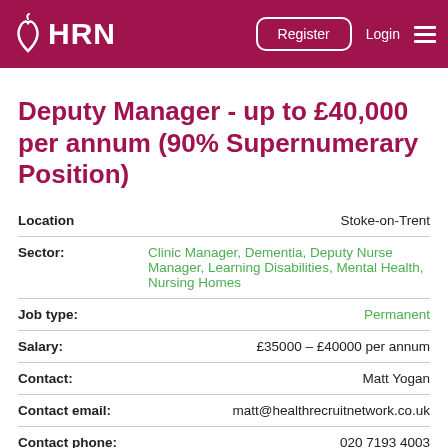HRN | Register | Login
Deputy Manager - up to £40,000 per annum (90% Supernumerary Position)
| Field | Value |
| --- | --- |
| Location | Stoke-on-Trent |
| Sector: | Clinic Manager, Dementia, Deputy Nurse Manager, Learning Disabilities, Mental Health, Nursing Homes |
| Job type: | Permanent |
| Salary: | £35000 - £40000 per annum |
| Contact: | Matt Yogan |
| Contact email: | matt@healthrecruitnetwork.co.uk |
| Contact phone: | 020 7193 4003 |
| Published: | 4 months ago |